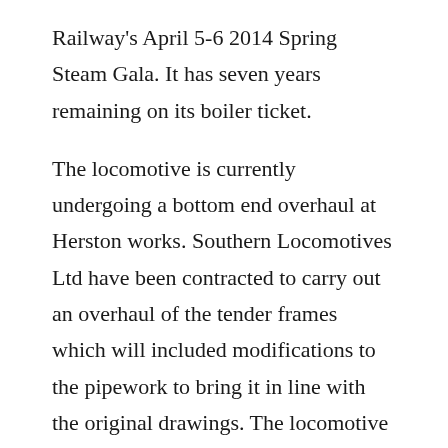Railway's April 5-6 2014 Spring Steam Gala. It has seven years remaining on its boiler ticket.
The locomotive is currently undergoing a bottom end overhaul at Herston works. Southern Locomotives Ltd have been contracted to carry out an overhaul of the tender frames which will included modifications to the pipework to bring it in line with the original drawings. The locomotive has been fitted out for main line electronic equipment with a view to the engine being able to work into Wareham at some stage in the future.
In April 2018 the locomotive hauled the Yeovil to Swanage segment of the Great Britain XI. This was its inaugural main line running.
In May 2018 the locomotive was fitted off [text cut off]